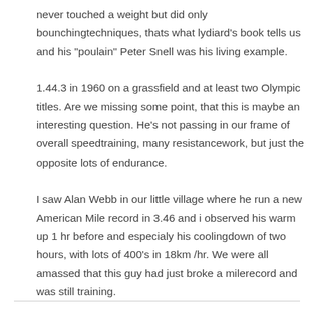never touched a weight but did only bounchingtechniques, thats what lydiard's book tells us and his "poulain" Peter Snell was his living example.
1.44.3 in 1960 on a grassfield and at least two Olympic titles. Are we missing some point, that this is maybe an interesting question. He's not passing in our frame of overall speedtraining, many resistancework, but just the opposite lots of endurance.
I saw Alan Webb in our little village where he run a new American Mile record in 3.46 and i observed his warm up 1 hr before and especialy his coolingdown of two hours, with lots of 400's in 18km /hr. We were all amassed that this guy had just broke a milerecord and was still training.